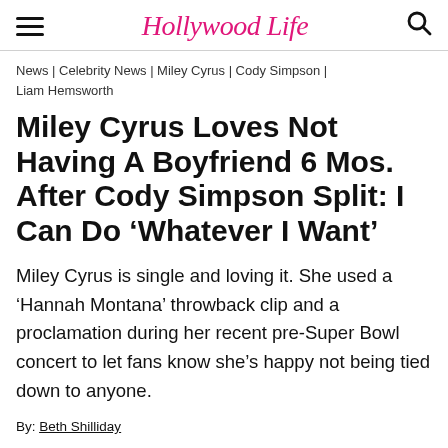Hollywood Life
News | Celebrity News | Miley Cyrus | Cody Simpson | Liam Hemsworth
Miley Cyrus Loves Not Having A Boyfriend 6 Mos. After Cody Simpson Split: I Can Do ‘Whatever I Want’
Miley Cyrus is single and loving it. She used a ‘Hannah Montana’ throwback clip and a proclamation during her recent pre-Super Bowl concert to let fans know she’s happy not being tied down to anyone.
By: Beth Shilliday